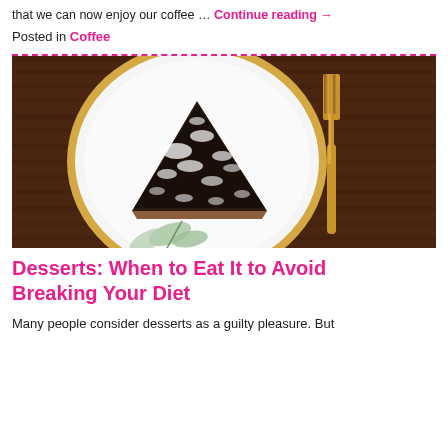that we can now enjoy our coffee … Continue reading →
Posted in Coffee
[Figure (photo): Overhead view of a chocolate cake slice on a white plate with gold rim, alongside a gold fork, on a dark wood table with eucalyptus leaves]
Desserts: When to Eat It to Avoid Breaking Your Diet
Many people consider desserts as a guilty pleasure. But